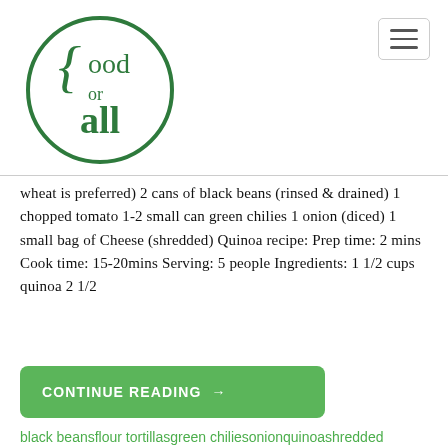[Figure (logo): Food for All logo: a circle with curly brace and text 'food or all' in dark green]
wheat is preferred) 2 cans of black beans (rinsed & drained) 1 chopped tomato 1-2 small can green chilies 1 onion (diced) 1 small bag of Cheese (shredded) Quinoa recipe: Prep time: 2 mins Cook time: 15-20mins Serving: 5 people Ingredients: 1 1/2 cups quinoa 2 1/2
CONTINUE READING →
black beansflour tortillasgreen chiliesonionquinoashredded cheesetomato